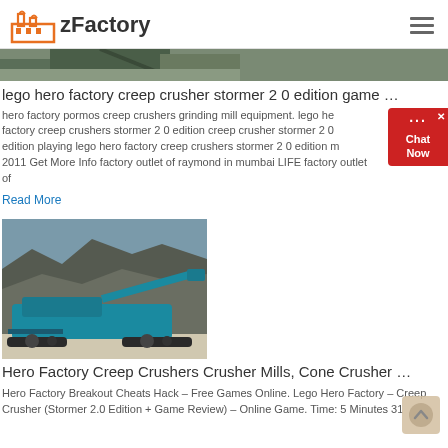zFactory
[Figure (photo): Partial image of industrial machinery or quarry scene at top of page]
lego hero factory creep crusher stormer 2 0 edition game …
hero factory pormos creep crushers grinding mill equipment. lego hero factory creep crushers stormer 2 0 edition creep crusher stormer 2 0 edition playing lego hero factory creep crushers stormer 2 0 edition m 2011 Get More Info factory outlet of raymond in mumbai LIFE factory outlet of
Read More
[Figure (photo): Photo of a large blue industrial mobile crusher machine in a quarry setting]
Hero Factory Creep Crushers Crusher Mills, Cone Crusher …
Hero Factory Breakout Cheats Hack – Free Games Online. Lego Hero Factory – Creep Crusher (Stormer 2.0 Edition + Game Review) – Online Game. Time: 5 Minutes 31